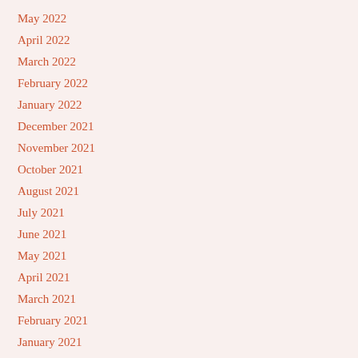May 2022
April 2022
March 2022
February 2022
January 2022
December 2021
November 2021
October 2021
August 2021
July 2021
June 2021
May 2021
April 2021
March 2021
February 2021
January 2021